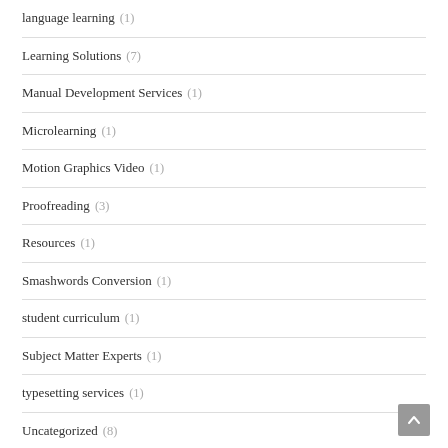language learning (1)
Learning Solutions (7)
Manual Development Services (1)
Microlearning (1)
Motion Graphics Video (1)
Proofreading (3)
Resources (1)
Smashwords Conversion (1)
student curriculum (1)
Subject Matter Experts (1)
typesetting services (1)
Uncategorized (8)